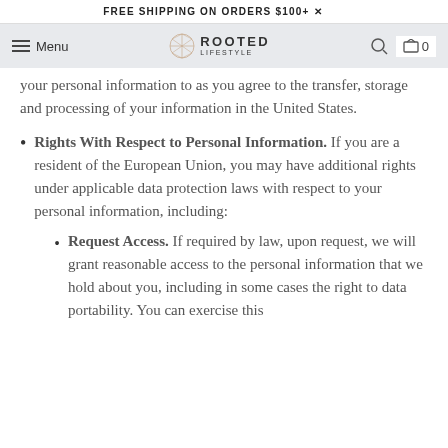FREE SHIPPING ON ORDERS $100+
[Figure (logo): Rooted Lifestyle navigation bar with hamburger menu, logo, search icon, and cart showing 0 items]
your personal information to as you agree to the transfer, storage and processing of your information in the United States.
Rights With Respect to Personal Information. If you are a resident of the European Union, you may have additional rights under applicable data protection laws with respect to your personal information, including:
Request Access. If required by law, upon request, we will grant reasonable access to the personal information that we hold about you, including in some cases the right to data portability. You can exercise this